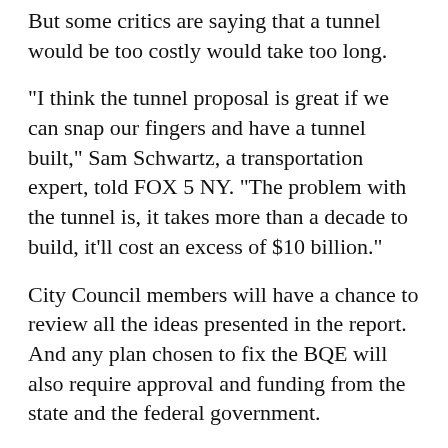But some critics are saying that a tunnel would be too costly would take too long.
"I think the tunnel proposal is great if we can snap our fingers and have a tunnel built," Sam Schwartz, a transportation expert, told FOX 5 NY. "The problem with the tunnel is, it takes more than a decade to build, it'll cost an excess of $10 billion."
City Council members will have a chance to review all the ideas presented in the report. And any plan chosen to fix the BQE will also require approval and funding from the state and the federal government.
>PART OF BROOKLYN–QUEENS EXPRESSWAY COULD BE CLOSED FOR YEARS
----------